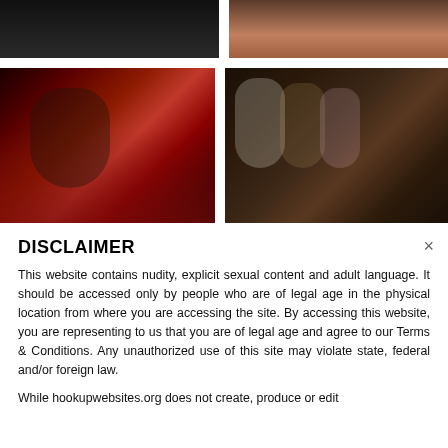[Figure (photo): Two cropped partial photo thumbnails at top of page — left shows a dark image, right shows a skin-tone image, both cut off at top]
[Figure (photo): Left main photo: woman in black lingerie reclining on red satin fabric, studio lighting]
[Figure (photo): Right main photo: three blonde women posing together, one in white robe, one in leopard print, one in pink dress]
DISCLAIMER
This website contains nudity, explicit sexual content and adult language. It should be accessed only by people who are of legal age in the physical location from where you are accessing the site. By accessing this website, you are representing to us that you are of legal age and agree to our Terms & Conditions. Any unauthorized use of this site may violate state, federal and/or foreign law.
While hookupwebsites.org does not create, produce or edit